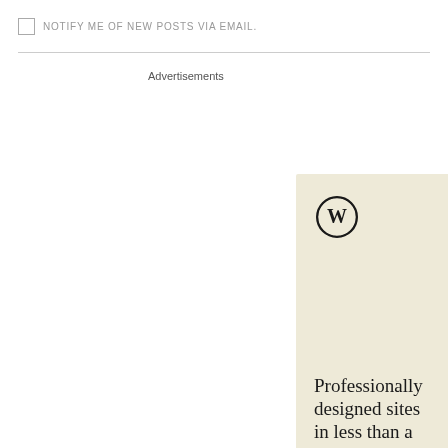NOTIFY ME OF NEW POSTS VIA EMAIL.
Advertisements
[Figure (illustration): WordPress advertisement banner with cream/beige background, WordPress logo (W in circle) at top, large serif text reading 'Professionally designed sites in less than a week', and a dark green 'Explore options' button]